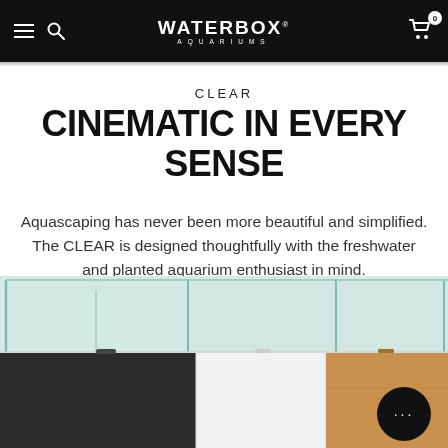WATERBOX AQUARIUMS
CLEAR
CINEMATIC IN EVERY SENSE
Aquascaping has never been more beautiful and simplified. The CLEAR is designed thoughtfully with the freshwater and planted aquarium enthusiast in mind.
[Figure (photo): Three glass aquarium tanks with different colored cabinets below: dark/black, white, and wood grain finish]